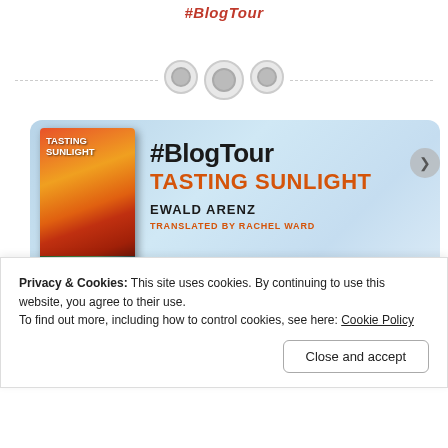#BlogTour
[Figure (illustration): Three circular decorative buttons/icons on a dashed horizontal divider line]
[Figure (illustration): Blog tour promotional banner for 'Tasting Sunlight' by Ewald Arenz, translated by Rachel Ward. Shows book cover on left with sky background, text reads '#BlogTour TASTING SUNLIGHT EWALD ARENZ TRANSLATED BY RACHEL WARD'.]
Privacy & Cookies: This site uses cookies. By continuing to use this website, you agree to their use.
To find out more, including how to control cookies, see here: Cookie Policy
Close and accept